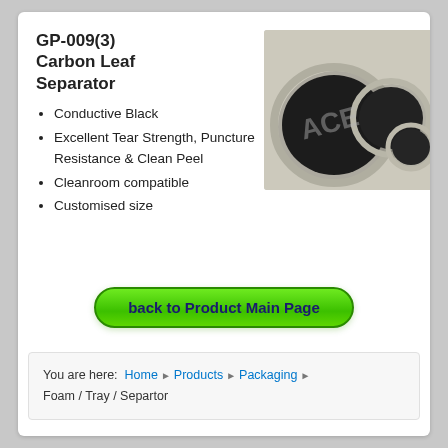GP-009(3) Carbon Leaf Separator
Conductive Black
Excellent Tear Strength, Puncture Resistance & Clean Peel
Cleanroom compatible
Customised size
[Figure (photo): Three circular carbon leaf separators of decreasing size, black coloured, in transparent plastic holders on a light background. Watermark text 'ACE' visible.]
back to Product Main Page
You are here: Home › Products › Packaging › Foam / Tray / Separtor